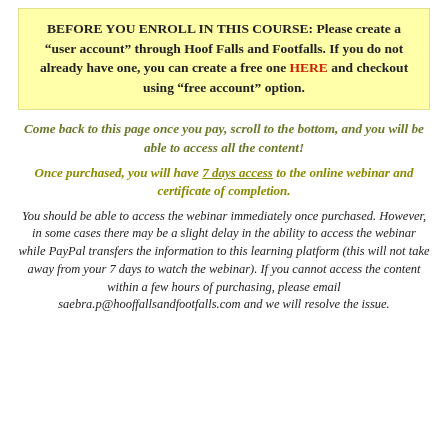BEFORE YOU ENROLL IN THIS COURSE: Please create a “user account” through Hoof Falls and Footfalls. If you do not already have one, you can create a free one HERE and checkout using “free account” option.
Come back to this page once you pay, scroll to the bottom, and you will be able to access all the content!
Once purchased, you will have 7 days access to the online webinar and certificate of completion.
You should be able to access the webinar immediately once purchased. However, in some cases there may be a slight delay in the ability to access the webinar while PayPal transfers the information to this learning platform (this will not take away from your 7 days to watch the webinar). If you cannot access the content within a few hours of purchasing, please email saebra.p@hooffallsandfootfalls.com and we will resolve the issue.